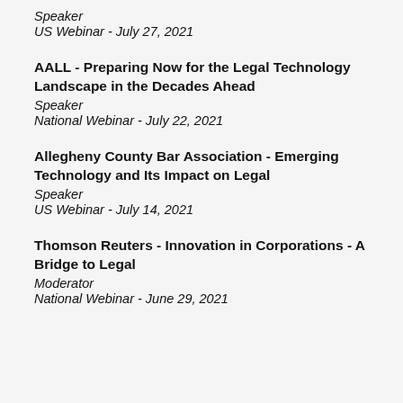Speaker
US Webinar - July 27, 2021
AALL - Preparing Now for the Legal Technology Landscape in the Decades Ahead
Speaker
National Webinar - July 22, 2021
Allegheny County Bar Association - Emerging Technology and Its Impact on Legal
Speaker
US Webinar - July 14, 2021
Thomson Reuters - Innovation in Corporations - A Bridge to Legal
Moderator
National Webinar - June 29, 2021